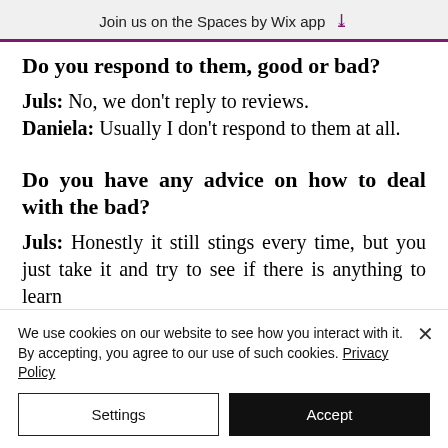Join us on the Spaces by Wix app ↓
Do you respond to them, good or bad?
Juls: No, we don't reply to reviews. Daniela: Usually I don't respond to them at all.
Do you have any advice on how to deal with the bad?
Juls: Honestly it still stings every time, but you just take it and try to see if there is anything to learn
We use cookies on our website to see how you interact with it. By accepting, you agree to our use of such cookies. Privacy Policy